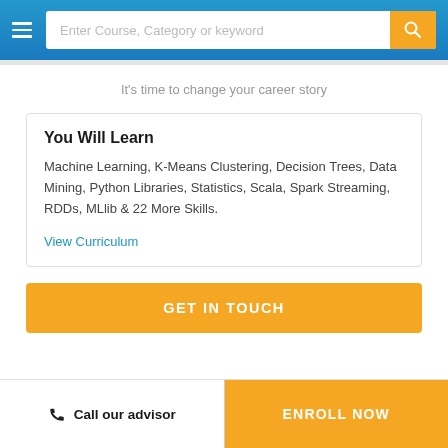Enter Course, Category or keyword
It's time to change your career story
You Will Learn
Machine Learning, K-Means Clustering, Decision Trees, Data Mining, Python Libraries, Statistics, Scala, Spark Streaming, RDDs, MLlib & 22 More Skills.
View Curriculum
GET IN TOUCH
Call our advisor   ENROLL NOW